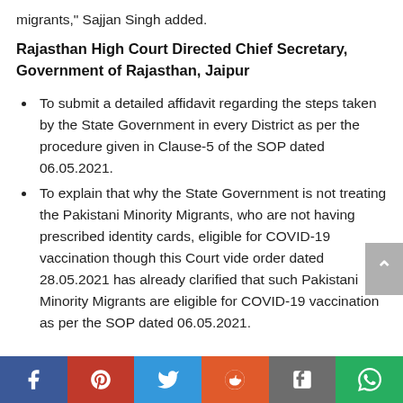migrants," Sajjan Singh added.
Rajasthan High Court Directed Chief Secretary, Government of Rajasthan, Jaipur
To submit a detailed affidavit regarding the steps taken by the State Government in every District as per the procedure given in Clause-5 of the SOP dated 06.05.2021.
To explain that why the State Government is not treating the Pakistani Minority Migrants, who are not having prescribed identity cards, eligible for COVID-19 vaccination though this Court vide order dated 28.05.2021 has already clarified that such Pakistani Minority Migrants are eligible for COVID-19 vaccination as per the SOP dated 06.05.2021.
Social share bar: Facebook, Pinterest, Twitter, Reddit, Tumblr, WhatsApp